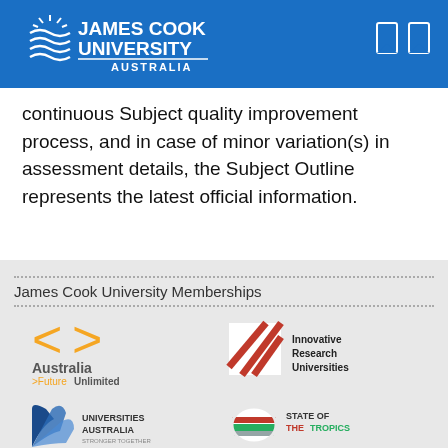[Figure (logo): James Cook University Australia logo on blue header background with two bookmark icons on the right]
continuous Subject quality improvement process, and in case of minor variation(s) in assessment details, the Subject Outline represents the latest official information.
James Cook University Memberships
[Figure (logo): Australia Future Unlimited logo]
[Figure (logo): Innovative Research Universities logo]
[Figure (logo): Universities Australia logo]
[Figure (logo): State of the Tropics logo]